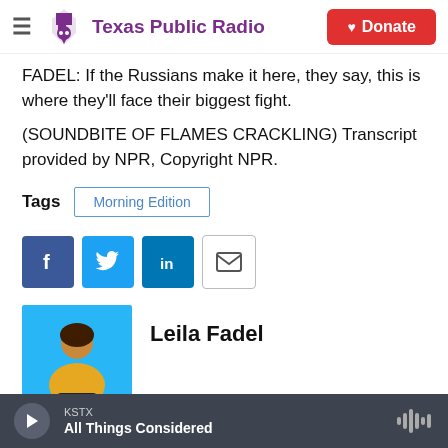Texas Public Radio — Donate
FADEL: If the Russians make it here, they say, this is where they'll face their biggest fight.
(SOUNDBITE OF FLAMES CRACKLING) Transcript provided by NPR, Copyright NPR.
Tags   Morning Edition
[Figure (infographic): Social sharing icons: Facebook, Twitter, LinkedIn, Email]
[Figure (photo): Photo of Leila Fadel on blue background]
Leila Fadel
KSTX  All Things Considered